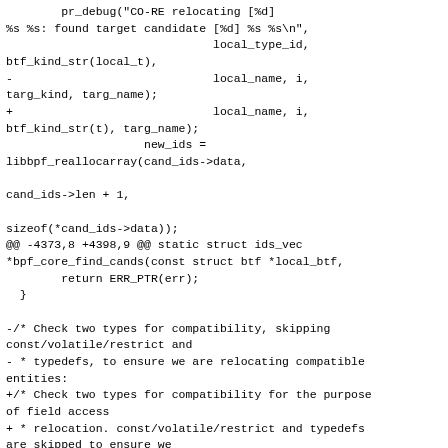Code diff showing modifications to btf/libbpf source files, including relocating debug messages, array reallocation, and comments about type compatibility checks for BTF CO-RE relocation.